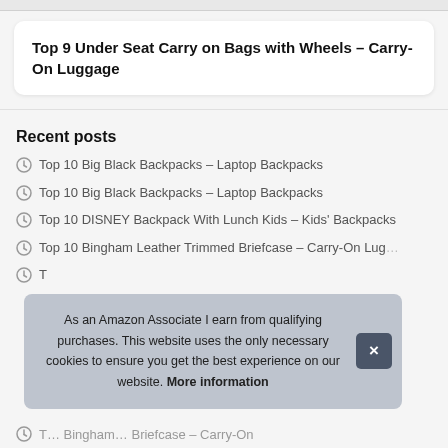Top 9 Under Seat Carry on Bags with Wheels – Carry-On Luggage
Recent posts
Top 10 Big Black Backpacks – Laptop Backpacks
Top 10 Big Black Backpacks – Laptop Backpacks
Top 10 DISNEY Backpack With Lunch Kids – Kids' Backpacks
Top 10 Bingham Leather Trimmed Briefcase – Carry-On Luggage
T… Luggage
T… Carry-On
As an Amazon Associate I earn from qualifying purchases. This website uses the only necessary cookies to ensure you get the best experience on our website. More information